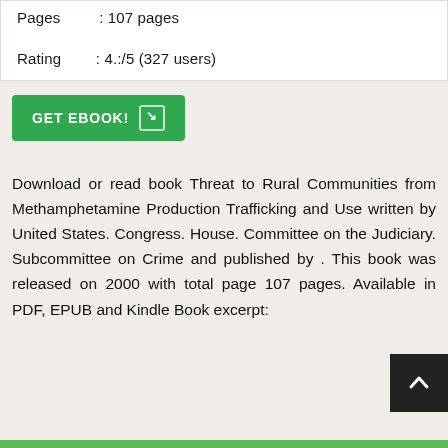Pages : 107 pages
Rating : 4.:/5 (327 users)
GET EBOOK!
Download or read book Threat to Rural Communities from Methamphetamine Production Trafficking and Use written by United States. Congress. House. Committee on the Judiciary. Subcommittee on Crime and published by . This book was released on 2000 with total page 107 pages. Available in PDF, EPUB and Kindle Book excerpt: